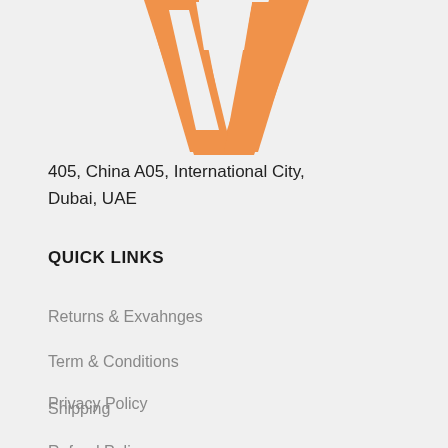[Figure (logo): Orange stylized V logo mark]
405, China A05, International City,
Dubai, UAE
QUICK LINKS
Returns & Exvahnges
Term & Conditions
Privacy Policy
Shipping
Refund Policy